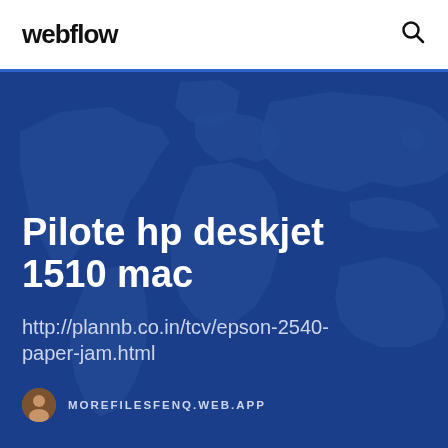webflow
[Figure (illustration): Dark blue world map background illustration with lighter blue continent outlines]
Pilote hp deskjet 1510 mac
http://plannb.co.in/tcv/epson-2540-paper-jam.html
MOREFILESFENQ.WEB.APP